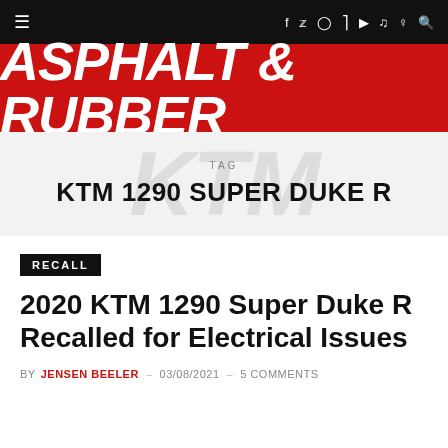≡  f  🐦  📷  )))  ▶  🎵  🔍
[Figure (logo): Asphalt & Rubber logo — white italic bold text on red background]
TAG
KTM 1290 SUPER DUKE R
RECALL
2020 KTM 1290 Super Duke R Recalled for Electrical Issues
BY JENSEN BEELER – 03/08/2021 – 5 COMMENTS